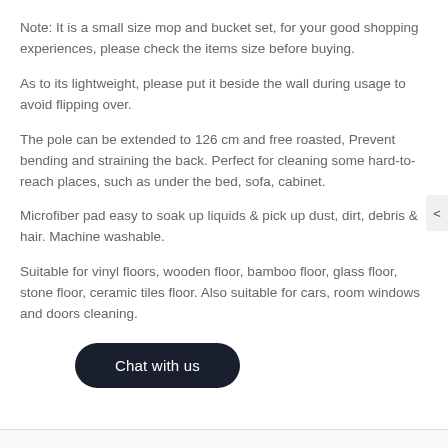Note: It is a small size mop and bucket set, for your good shopping experiences, please check the items size before buying.
As to its lightweight, please put it beside the wall during usage to avoid flipping over.
The pole can be extended to 126 cm and free roasted, Prevent bending and straining the back. Perfect for cleaning some hard-to-reach places, such as under the bed, sofa, cabinet.
Microfiber pad easy to soak up liquids & pick up dust, dirt, debris & hair. Machine washable.
Suitable for vinyl floors, wooden floor, bamboo floor, glass floor, stone floor, ceramic tiles floor. Also suitable for cars, room windows and doors cleaning.
[Figure (other): Chat with us button - dark rounded pill-shaped button with white text]